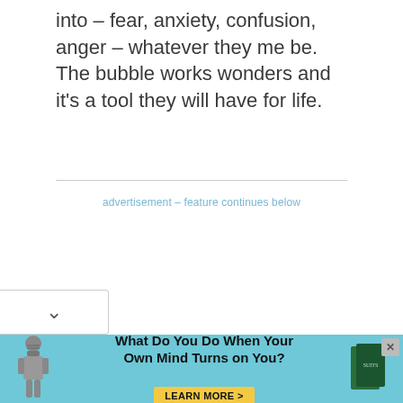into – fear, anxiety, confusion, anger – whatever they me be. The bubble works wonders and it's a tool they will have for life.
advertisement – feature continues below
[Figure (infographic): Advertisement banner with knight figure on left, text 'What Do You Do When Your Own Mind Turns on You?' in center, book cover images on right, and a yellow 'LEARN MORE >' button.]